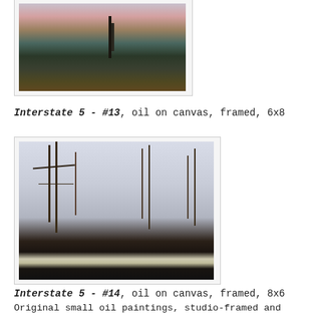[Figure (photo): Oil painting 'Interstate 5 - #13', landscape with hills and dark foreground, partially visible at top of page]
Interstate 5 - #13, oil on canvas, framed, 6x8
[Figure (photo): Oil painting 'Interstate 5 - #14', harbor scene with sailboat masts silhouetted against light sky, dark water foreground]
Interstate 5 - #14, oil on canvas, framed, 8x6
Original small oil paintings, studio-framed and ready to hang.